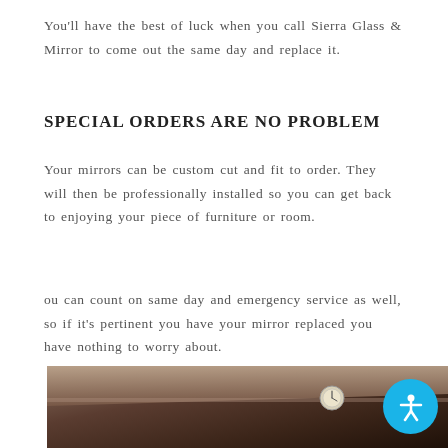You'll have the best of luck when you call Sierra Glass & Mirror to come out the same day and replace it.
SPECIAL ORDERS ARE NO PROBLEM
Your mirrors can be custom cut and fit to order. They will then be professionally installed so you can get back to enjoying your piece of furniture or room.
ou can count on same day and emergency service as well, so if it's pertinent you have your mirror replaced you have nothing to worry about.
[Figure (photo): Interior room photo with ceiling and a clock visible on the wall, dark warm tones]